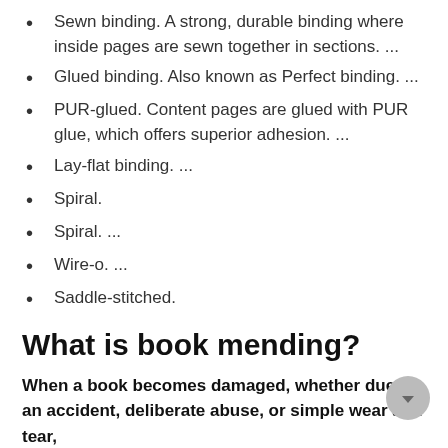Sewn binding. A strong, durable binding where inside pages are sewn together in sections. ...
Glued binding. Also known as Perfect binding. ...
PUR-glued. Content pages are glued with PUR glue, which offers superior adhesion. ...
Lay-flat binding. ...
Spiral.
Spiral. ...
Wire-o. ...
Saddle-stitched.
What is book mending?
When a book becomes damaged, whether due to an accident, deliberate abuse, or simple wear and tear,